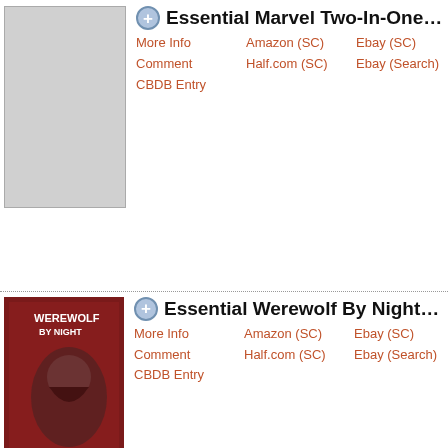Essential Marvel Two-In-One Vol. 1
More Info | Amazon (SC) | Ebay (SC) | Marvel Feature 11, Two-In-One 1-20, Annual 1, Marvel 47, The Fantastic Annual 11
Essential Werewolf By Night Vol. 2
More Info | Amazon (SC) | Ebay (SC) | Werewolf By Night, Giant-Size Werewolf, Marvel Premiere 2
Essential Fantastic Four Vol. 8
More Info | Amazon (SC) | Ebay (SC) | Fantastic Four 160-183, Annual 11; Marvel Two-in-One 20, Annual
Essential Luke Cage, Power Man Vol. 2
More Info | Amazon (SC) | Ebay (SC) | Power Man 28-49
Champions Classic Vol. 2
More Info | Amazon (SC) | Ebay (SC) | The...